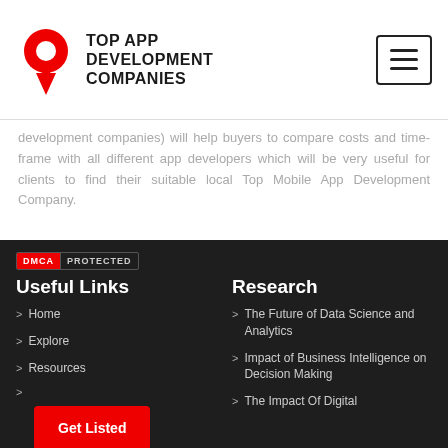[Figure (logo): Top App Development Companies logo with red icon and bold text]
development companies) will help buyers to compare costs and time-frame with all different app developers which will be very useful for clients to find their suitable local Top Mobile App Development Company.
[Figure (other): DMCA Protected badge]
Useful Links
Research
Home
The Future of Data Science and Analytics
Explore
Impact of Business Intelligence on Decision Making
Resources
The Impact Of Digital
[Figure (other): Get Listed red button]
Write For Us